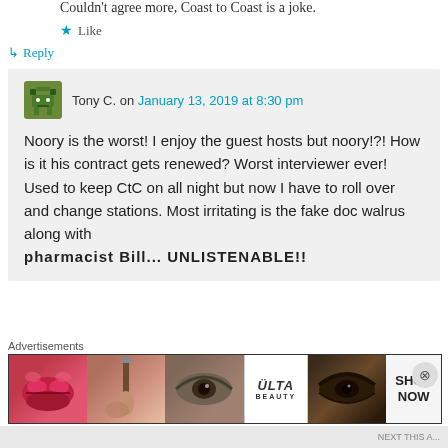Couldn't agree more, Coast to Coast is a joke.
★ Like
↳ Reply
Tony C. on January 13, 2019 at 8:30 pm
Noory is the worst! I enjoy the guest hosts but noory!?! How is it his contract gets renewed? Worst interviewer ever! Used to keep CtC on all night but now I have to roll over and change stations. Most irritating is the fake doc walrus along with pharmacist Bill... UNLISTENABLE!!
Advertisements
[Figure (screenshot): Ulta Beauty advertisement banner showing makeup-themed images with 'SHOP NOW' call to action]
NEXT THIS A...